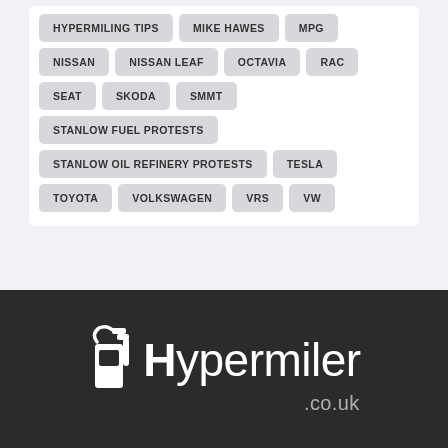HYPERMILING TIPS
MIKE HAWES
MPG
NISSAN
NISSAN LEAF
OCTAVIA
RAC
SEAT
SKODA
SMMT
STANLOW FUEL PROTESTS
STANLOW OIL REFINERY PROTESTS
TESLA
TOYOTA
VOLKSWAGEN
VRS
VW
[Figure (logo): Hypermiler.co.uk logo in white on dark background, with stylized fuel pump icon to the left of the H]